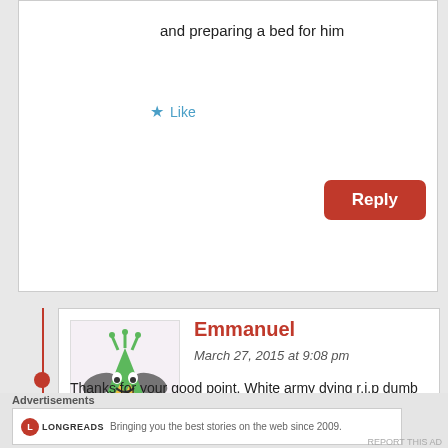and preparing a bed for him
★ Like
Reply
[Figure (illustration): Green monster cartoon avatar with wings and antennae]
Emmanuel
March 27, 2015 at 9:08 pm
Thanks for your good point. White army dying r.i.p dumb brother. .
★ Like
Reply
Advertisements
LONGREADS
Bringing you the best stories on the web since 2009.
REPORT THIS AD